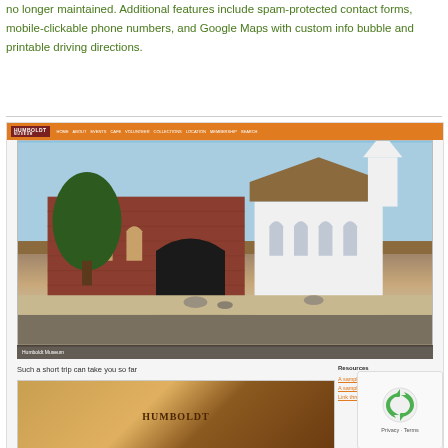no longer maintained. Additional features include spam-protected contact forms, mobile-clickable phone numbers, and Google Maps with custom info bubble and printable driving directions.
[Figure (screenshot): Screenshot of Humboldt Museum website showing orange navigation bar with museum logo, a main photo of the museum building (red brick building with white church/chapel structure), photo caption bar reading 'Humboldt Museum', and lower section with tagline 'Such a short trip can take you so far', a Humboldt-branded image, and a sidebar with resource links. A reCAPTCHA widget appears in the bottom-right corner.]